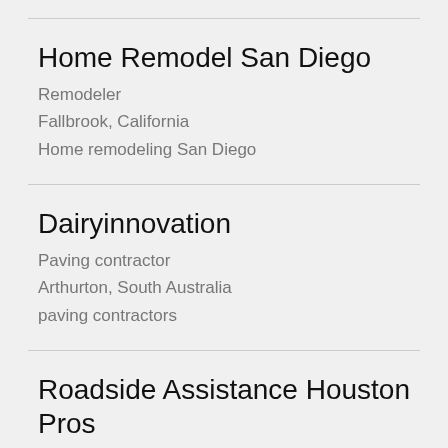Home Remodel San Diego
Remodeler
Fallbrook, California
Home remodeling San Diego
Dairyinnovation
Paving contractor
Arthurton, South Australia
paving contractors
Roadside Assistance Houston Pros